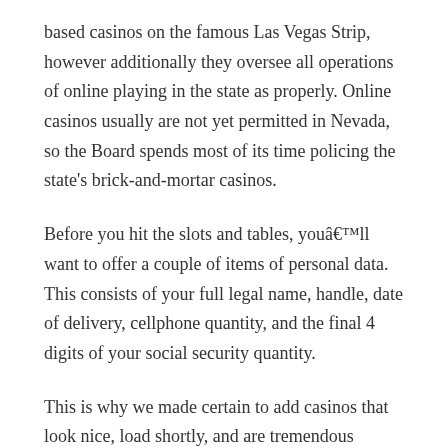based casinos on the famous Las Vegas Strip, however additionally they oversee all operations of online playing in the state as properly. Online casinos usually are not yet permitted in Nevada, so the Board spends most of its time policing the state's brick-and-mortar casinos.
Before you hit the slots and tables, youâ€™ll want to offer a couple of items of personal data. This consists of your full legal name, handle, date of delivery, cellphone quantity, and the final 4 digits of your social security quantity.
This is why we made certain to add casinos that look nice, load shortly, and are tremendous simple to use, contributing to an all-around better online playing expertise. Especially in gentle of the utmost stakes allowed, it’s clear this new online casino is essentially geared toward informal gamers who just want some enjoyable – so no hurt no foul right here. Speaking of these poker games, El Royale is residence to 19 poker variants at the